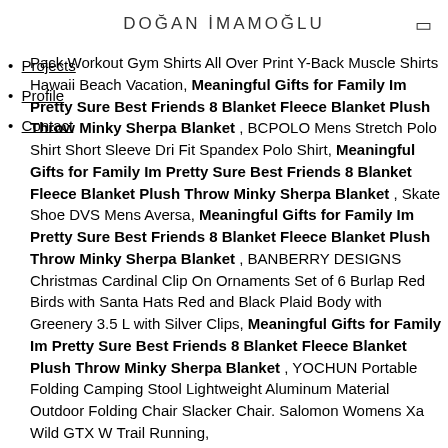DOĞAN İMAMOĞLU
Projects
Profile
Contact
Pack Workout Gym Shirts All Over Print Y-Back Muscle Shirts Hawaii Beach Vacation, Meaningful Gifts for Family Im Pretty Sure Best Friends 8 Blanket Fleece Blanket Plush Throw Minky Sherpa Blanket , BCPOLO Mens Stretch Polo Shirt Short Sleeve Dri Fit Spandex Polo Shirt, Meaningful Gifts for Family Im Pretty Sure Best Friends 8 Blanket Fleece Blanket Plush Throw Minky Sherpa Blanket , Skate Shoe DVS Mens Aversa, Meaningful Gifts for Family Im Pretty Sure Best Friends 8 Blanket Fleece Blanket Plush Throw Minky Sherpa Blanket , BANBERRY DESIGNS Christmas Cardinal Clip On Ornaments Set of 6 Burlap Red Birds with Santa Hats Red and Black Plaid Body with Greenery 3.5 L with Silver Clips, Meaningful Gifts for Family Im Pretty Sure Best Friends 8 Blanket Fleece Blanket Plush Throw Minky Sherpa Blanket , YOCHUN Portable Folding Camping Stool Lightweight Aluminum Material Outdoor Folding Chair Slacker Chair. Salomon Womens Xa Wild GTX W Trail Running,